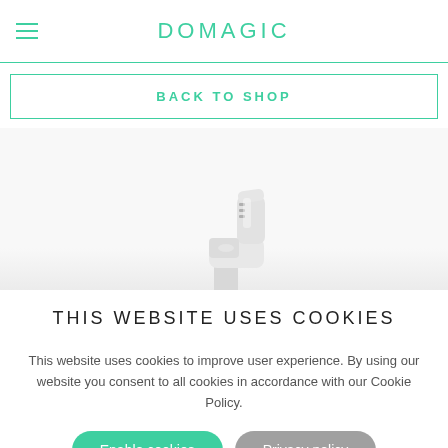DOMAGIC
BACK TO SHOP
[Figure (photo): 3D rendered white plastic product component, possibly a smart home device or water dispenser fitting, on a light gradient background]
THIS WEBSITE USES COOKIES
This website uses cookies to improve user experience. By using our website you consent to all cookies in accordance with our Cookie Policy.
Enable cookies   Privacy policy